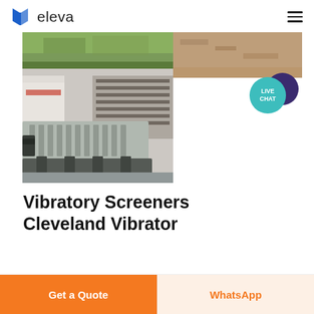[Figure (logo): Eleva company logo with blue book-like icon and 'eleva' text in dark]
[Figure (photo): Two photos: top shows grassy ground and gravel/dirt surface, bottom main image shows a vibratory screener/feeder tray in a warehouse/industrial setting]
Vibratory Screeners Cleveland Vibrator
Get a Quote
WhatsApp